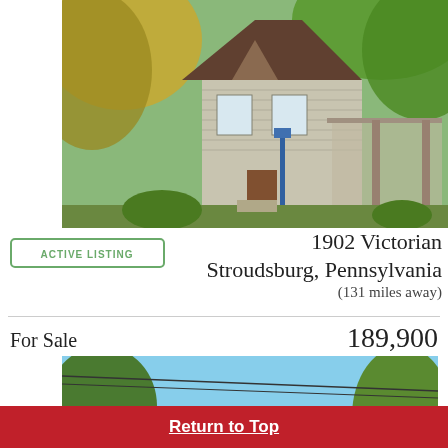[Figure (photo): Exterior photo of a 1902 Victorian house in Stroudsburg, Pennsylvania, surrounded by trees with green and autumn foliage]
[Figure (illustration): Green banner badge reading ACTIVE LISTING]
1902 Victorian
Stroudsburg, Pennsylvania
(131 miles away)
For Sale	189,900
[Figure (photo): Exterior photo of a brick Victorian-era house for sale, viewed from below against a blue sky with trees]
Return to Top